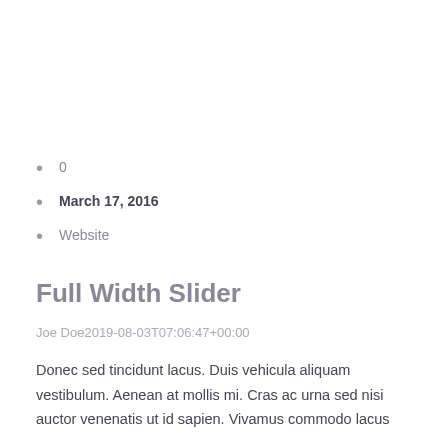0
March 17, 2016
Website
Full Width Slider
Joe Doe2019-08-03T07:06:47+00:00
Donec sed tincidunt lacus. Duis vehicula aliquam vestibulum. Aenean at mollis mi. Cras ac urna sed nisi auctor venenatis ut id sapien. Vivamus commodo lacus